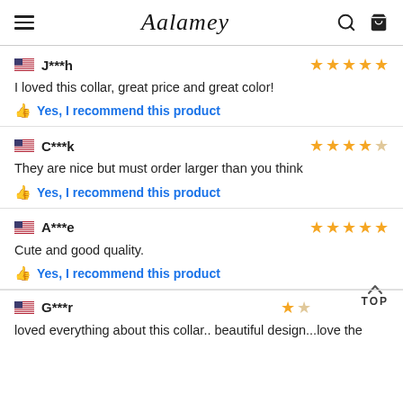Aalamey
J***h — 5 stars
I loved this collar, great price and great color!
👍 Yes, I recommend this product
C***k — 4 stars
They are nice but must order larger than you think
👍 Yes, I recommend this product
A***e — 5 stars
Cute and good quality.
👍 Yes, I recommend this product
G***r — 1 star
loved everything about this collar.. beautiful design...love the